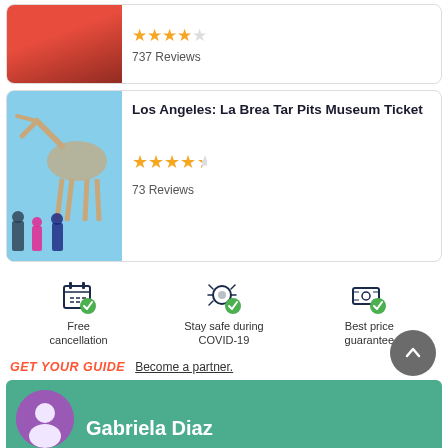[Figure (photo): Partial top card showing red double-decker bus with 3.5 star rating and 737 Reviews]
737 Reviews
[Figure (photo): La Brea Tar Pits Museum ticket listing with mammoth skeleton photo]
Los Angeles: La Brea Tar Pits Museum Ticket
73 Reviews
[Figure (infographic): Three feature icons: Free cancellation, Stay safe during COVID-19, Best price guarantee]
GET YOUR GUIDE  Become a partner.
[Figure (photo): Bottom green banner with Gabriela Diaz profile and purple avatar circle]